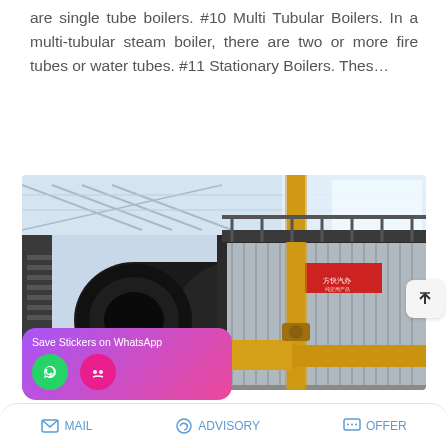are single tube boilers. #10 Multi Tubular Boilers. In a multi-tubular steam boiler, there are two or more fire tubes or water tubes. #11 Stationary Boilers. Thes…
READ MORE
[Figure (photo): Industrial boiler installation in a factory setting. A large horizontal fire tube boiler with black cylindrical burner end on the left, metallic corrugated casing on the right with a Chinese manufacturer sign, and yellow gas piping in the foreground. Steel structural framework visible in background.]
Save Stickers on WhatsApp
MAIL   ADVISORY   OFFER